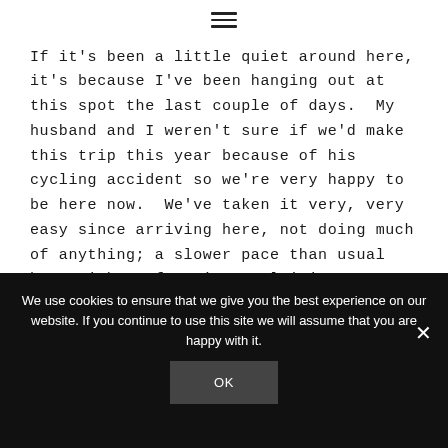≡
If it's been a little quiet around here, it's because I've been hanging out at this spot the last couple of days.  My husband and I weren't sure if we'd make this trip this year because of his cycling accident so we're very happy to be here now.  We've taken it very, very easy since arriving here, not doing much of anything; a slower pace than usual but neither of us is complaining.
We use cookies to ensure that we give you the best experience on our website. If you continue to use this site we will assume that you are happy with it.